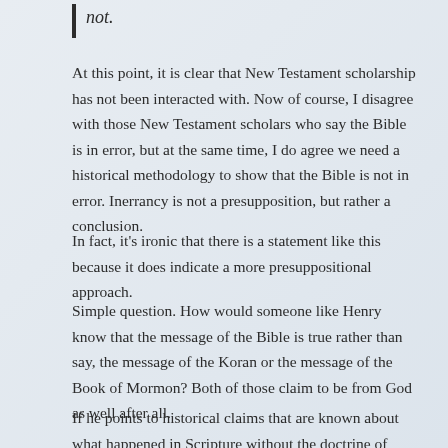not.
At this point, it is clear that New Testament scholarship has not been interacted with. Now of course, I disagree with those New Testament scholars who say the Bible is in error, but at the same time, I do agree we need a historical methodology to show that the Bible is not in error. Inerrancy is not a presupposition, but rather a conclusion.
In fact, it’s ironic that there is a statement like this because it does indicate a more presuppositional approach.
Simple question. How would someone like Henry know that the message of the Bible is true rather than say, the message of the Koran or the message of the Book of Mormon? Both of those claim to be from God as well after all.
If he points to historical claims that are known about what happened in Scripture without the doctrine of Inerrancy, then